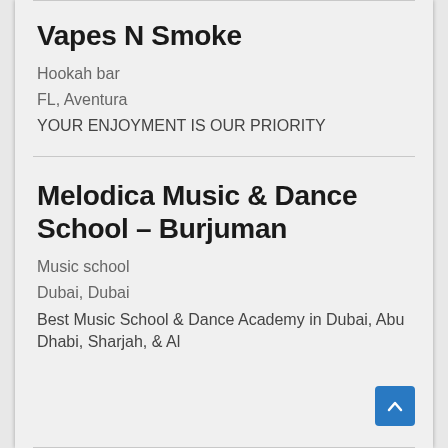Vapes N Smoke
Hookah bar
FL, Aventura
YOUR ENJOYMENT IS OUR PRIORITY
Melodica Music & Dance School – Burjuman
Music school
Dubai, Dubai
Best Music School & Dance Academy in Dubai, Abu Dhabi, Sharjah, & Al